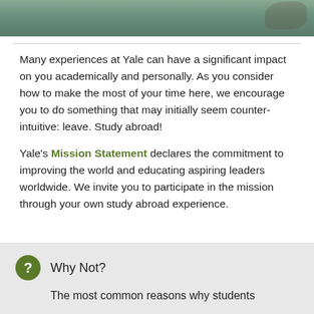[Figure (photo): Partial photo of an outdoor scene, likely water or foliage, cropped at top of page]
Many experiences at Yale can have a significant impact on you academically and personally. As you consider how to make the most of your time here, we encourage you to do something that may initially seem counter-intuitive: leave. Study abroad!
Yale's Mission Statement declares the commitment to improving the world and educating aspiring leaders worldwide. We invite you to participate in the mission through your own study abroad experience.
Why Not?
The most common reasons why students